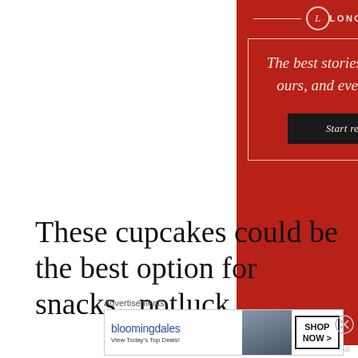[Figure (other): Longreads advertisement: red background with logo, tagline 'The best stories on the web – ours, and everyone else's.' and a 'Start reading' button]
REPORT THIS AD
These cupcakes could be the best option for snacks , potluck ,
Advertisements
[Figure (other): Bloomingdale's advertisement: 'bloomingdales View Today's Top Deals!' with woman in hat and SHOP NOW > button]